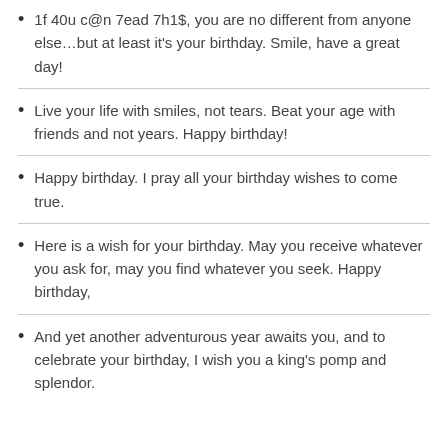1f 40u c@n 7ead 7h1$, you are no different from anyone else…but at least it's your birthday. Smile, have a great day!
Live your life with smiles, not tears. Beat your age with friends and not years. Happy birthday!
Happy birthday. I pray all your birthday wishes to come true.
Here is a wish for your birthday. May you receive whatever you ask for, may you find whatever you seek. Happy birthday,
And yet another adventurous year awaits you, and to celebrate your birthday, I wish you a king's pomp and splendor.